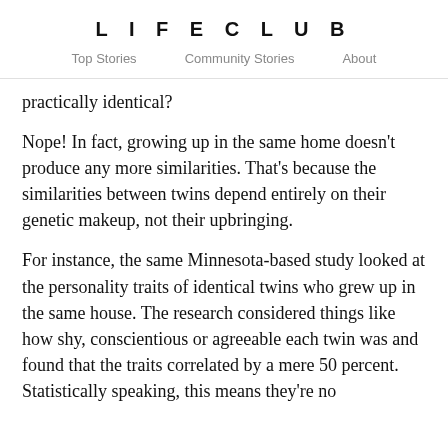LIFECLUB
Top Stories   Community Stories   About
practically identical?
Nope! In fact, growing up in the same home doesn't produce any more similarities. That's because the similarities between twins depend entirely on their genetic makeup, not their upbringing.
For instance, the same Minnesota-based study looked at the personality traits of identical twins who grew up in the same house. The research considered things like how shy, conscientious or agreeable each twin was and found that the traits correlated by a mere 50 percent. Statistically speaking, this means they're no